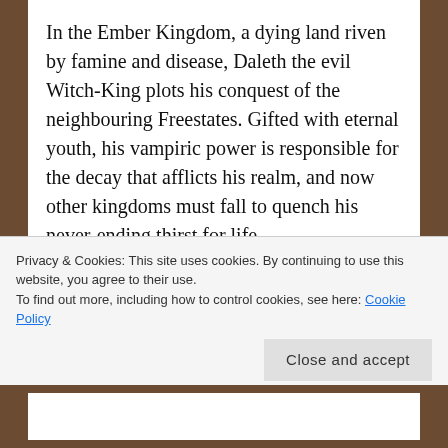In the Ember Kingdom, a dying land riven by famine and disease, Daleth the evil Witch-King plots his conquest of the neighbouring Freestates. Gifted with eternal youth, his vampiric power is responsible for the decay that afflicts his realm, and now other kingdoms must fall to quench his never-ending thirst for life.

However, on the cusp of the invasion, Maya, a peasant huntress, is arrested, Daleth's soldiers kill an old farmer's wife, and a young outcast is reluctantly enlisted into the Witch-King's army. Three seemingly
Privacy & Cookies: This site uses cookies. By continuing to use this website, you agree to their use.
To find out more, including how to control cookies, see here: Cookie Policy
Close and accept